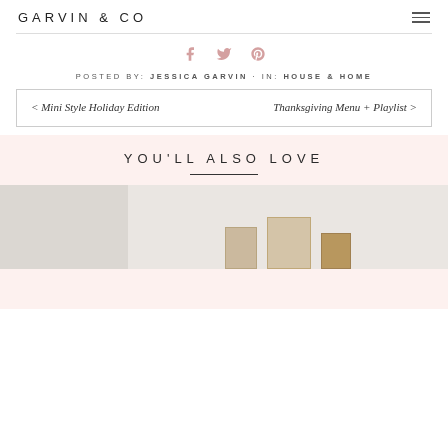GARVIN & CO
POSTED BY: JESSICA GARVIN · IN: HOUSE & HOME
< Mini Style Holiday Edition   Thanksgiving Menu + Playlist >
YOU'LL ALSO LOVE
[Figure (photo): Preview image of home decor with picture frames on a wall]